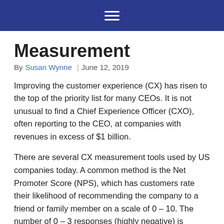[hamburger menu icon]
Measurement
By Susan Wynne  |  June 12, 2019
Improving the customer experience (CX) has risen to the top of the priority list for many CEOs. It is not unusual to find a Chief Experience Officer (CXO), often reporting to the CEO, at companies with revenues in excess of $1 billion.
There are several CX measurement tools used by US companies today. A common method is the Net Promoter Score (NPS), which has customers rate their likelihood of recommending the company to a friend or family member on a scale of 0 – 10. The number of 0 – 3 responses (highly negative) is subtracted from the 9 – 10 responses (highly...